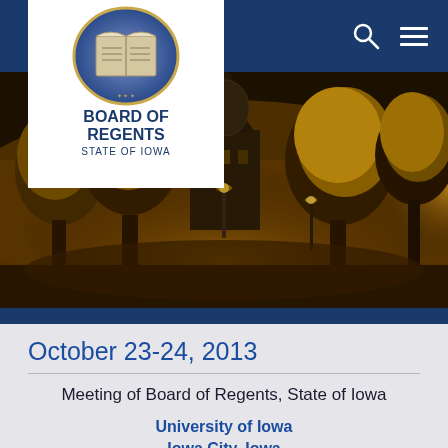[Figure (screenshot): Navigation bar with Board of Regents State of Iowa logo (white box with emblem and text), dark navy background, search icon and hamburger menu icon on the right]
[Figure (photo): Night photograph of a university campus with golden-lit trees, a domed building/capitol in the background, and street lights creating a warm amber glow]
October 23-24, 2013
Meeting of Board of Regents, State of Iowa
University of Iowa
Iowa City, Iowa
October 23-24, 2013
Agenda Items